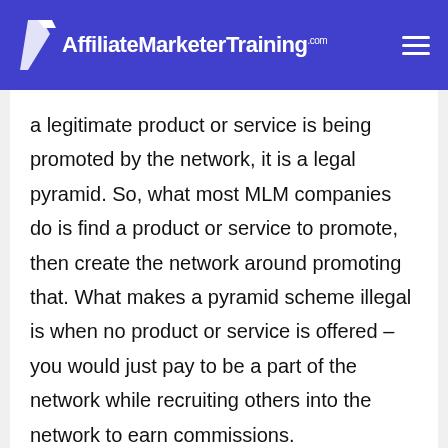AffiliateMarketerTraining.com
a legitimate product or service is being promoted by the network, it is a legal pyramid. So, what most MLM companies do is find a product or service to promote, then create the network around promoting that. What makes a pyramid scheme illegal is when no product or service is offered – you would just pay to be a part of the network while recruiting others into the network to earn commissions.